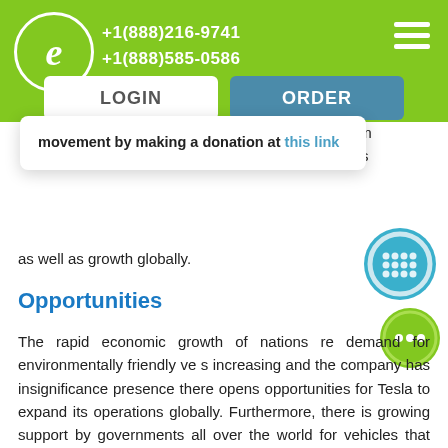+1(888)216-9741 +1(888)585-0586
[Figure (logo): Circular logo with letter e in white on green background]
movement by making a donation at this link
any has to reform ing its operations
as well as growth globally.
Opportunities
[Figure (illustration): Teal circle with dot grid pattern]
[Figure (illustration): Green circle with chat/dots icon]
The rapid economic growth of nations re demand for environmentally friendly ve s increasing and the company has insignificance presence there opens opportunities for Tesla to expand its operations globally. Furthermore, there is growing support by governments all over the world for vehicles that are environmentally friendly such that they offer exemptions from duties and